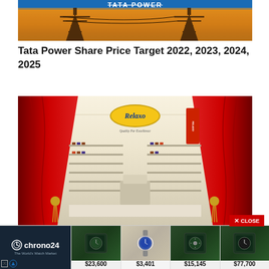[Figure (photo): Tata Power article thumbnail showing electricity transmission towers against an orange sky with the Tata Power logo partially visible at the top]
Tata Power Share Price Target 2022, 2023, 2024, 2025
[Figure (photo): Relaxo footwear store interior with red curtains framing the entrance, shelves of shoes visible, and the Relaxo logo with tagline 'Quality For Excellence' displayed prominently]
[Figure (screenshot): Chrono24 advertisement banner showing luxury watches with prices: $23,600, $3,401, $15,145, $77,700]